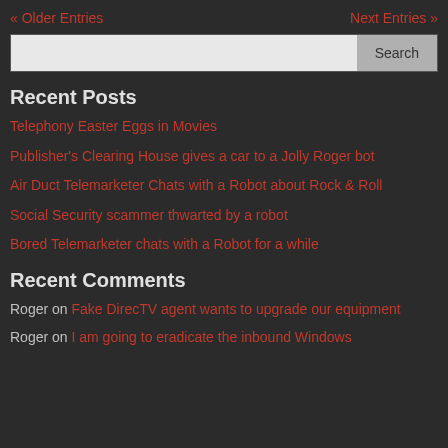« Older Entries    Next Entries »
Recent Posts
Telephony Easter Eggs in Movies
Publisher's Clearing House gives a car to a Jolly Roger bot
Air Duct Telemarketer Chats with a Robot about Rock & Roll
Social Security scammer thwarted by a robot
Bored Telemarketer chats with a Robot for a while
Recent Comments
Roger on Fake DirecTV agent wants to upgrade our equipment
Roger on I am going to eradicate the inbound Windows